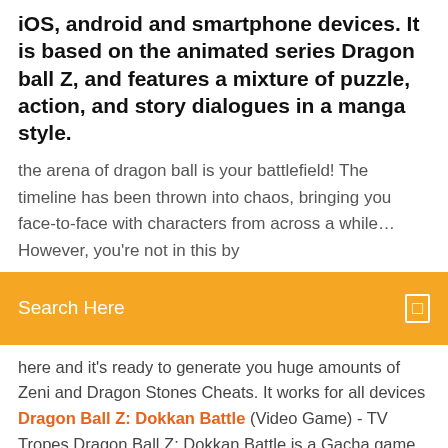iOS, android and smartphone devices. It is based on the animated series Dragon ball Z, and features a mixture of puzzle, action, and story dialogues in a manga style.
the arena of dragon ball is your battlefield! The timeline has been thrown into chaos, bringing you face-to-face with characters from across a while… However, you're not in this by
[Figure (screenshot): Orange search bar with text 'Search Here' and a small icon on the right]
here and it's ready to generate you huge amounts of Zeni and Dragon Stones Cheats. It works for all devices Dragon Ball Z: Dokkan Battle (Video Game) - TV Tropes Dragon Ball Z: Dokkan Battle is a Gacha game by Namco Bandai released on both iOS and Android. based on the Dragon Ball franchise. A mysterious force has … Dragon Ball Z Dokkan Battle: How to Nuke a Boss | Game Rant
Analyse plagiat en ligne
Carte dromadaire st valentin gratuite